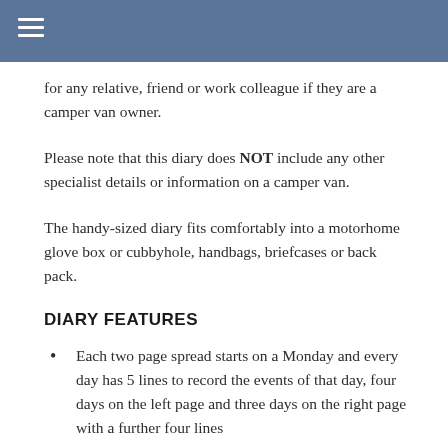≡
for any relative, friend or work colleague if they are a camper van owner.
Please note that this diary does NOT include any other specialist details or information on a camper van.
The handy-sized diary fits comfortably into a motorhome glove box or cubbyhole, handbags, briefcases or back pack.
DIARY FEATURES
Each two page spread starts on a Monday and every day has 5 lines to record the events of that day, four days on the left page and three days on the right page with a further four lines